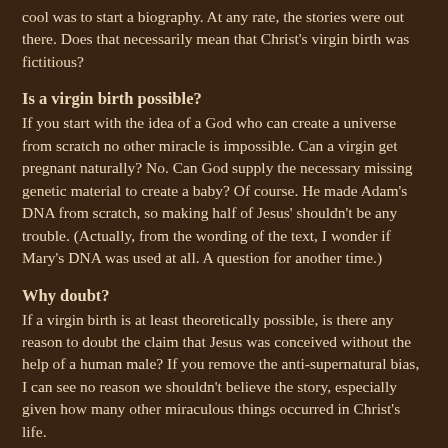cool was to start a biography. At any rate, the stories were out there. Does that necessarily mean that Christ's virgin birth was fictitious?
Is a virgin birth possible?
If you start with the idea of a God who can create a universe from scratch no other miracle is impossible. Can a virgin get pregnant naturally? No. Can God supply the necessary missing genetic material to create a baby? Of course. He made Adam's DNA from scratch, so making half of Jesus' shouldn't be any trouble. (Actually, from the wording of the text, I wonder if Mary's DNA was used at all. A question for another time.)
Why doubt?
If a virgin birth is at least theoretically possible, is there any reason to doubt the claim that Jesus was conceived without the help of a human male? If you remove the anti-supernatural bias, I can see no reason we shouldn't believe the story, especially given how many other miraculous things occurred in Christ's life.
Why the pagan parallels?
Some have suggested that the ancient religions around Jesus' time